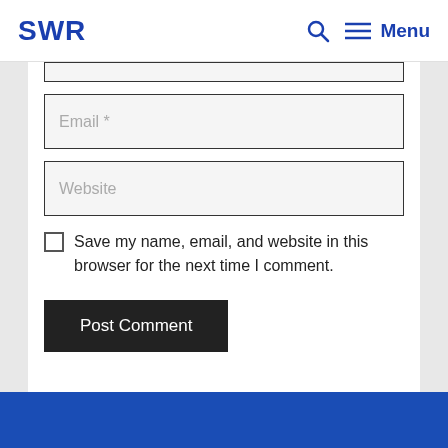SWR  🔍  ≡ Menu
[Figure (screenshot): Partially visible text input field at the top of the content area]
Email *
Website
Save my name, email, and website in this browser for the next time I comment.
Post Comment
[Figure (other): Blue footer bar at the bottom of the page]